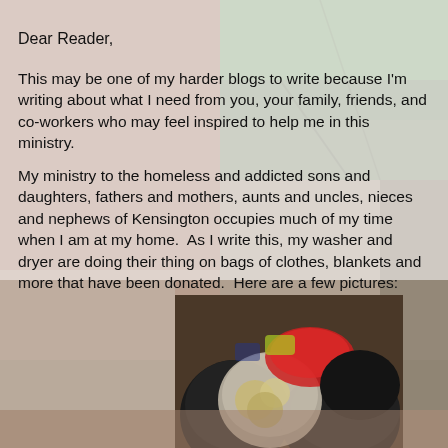Dear Reader,
This may be one of my harder blogs to write because I'm writing about what I need from you, your family, friends, and co-workers who may feel inspired to help me in this ministry.
My ministry to the homeless and addicted sons and daughters, fathers and mothers, aunts and uncles, nieces and nephews of Kensington occupies much of my time when I am at my home.  As I write this, my washer and dryer are doing their thing on bags of clothes, blankets and more that have been donated.  Here are a few pictures:
[Figure (photo): Bags of donated clothes, blankets and other items piled on a floor, including black garbage bags and clear plastic bags containing various items.]